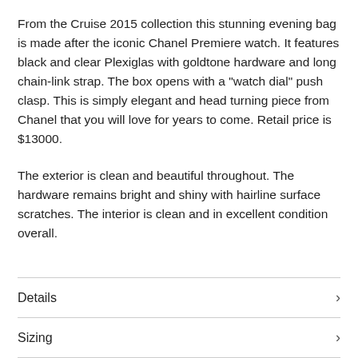From the Cruise 2015 collection this stunning evening bag is made after the iconic Chanel Premiere watch. It features black and clear Plexiglas with goldtone hardware and long chain-link strap. The box opens with a "watch dial" push clasp. This is simply elegant and head turning piece from Chanel that you will love for years to come. Retail price is $13000.
The exterior is clean and beautiful throughout. The hardware remains bright and shiny with hairline surface scratches. The interior is clean and in excellent condition overall.
Details
Sizing